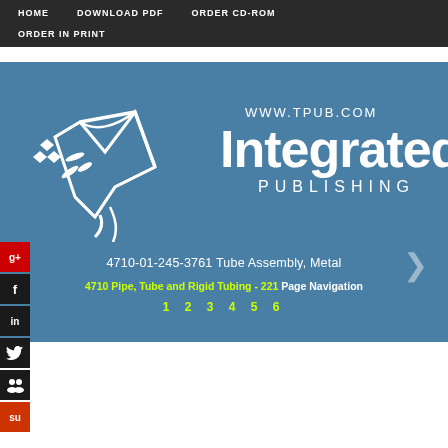HOME   DOWNLOAD PDF   ORDER CD-ROM   ORDER IN PRINT
[Figure (logo): Integrated Publishing logo with stylized bird graphic and text 'WWW.TPUB.COM Integrated PUBLISHING' on steel blue background]
4710-01-245-3761 Tube Assembly, Metal
4710 Pipe, Tube and Rigid Tubing - 221 Page Navigation
1 2 3 4 5 6